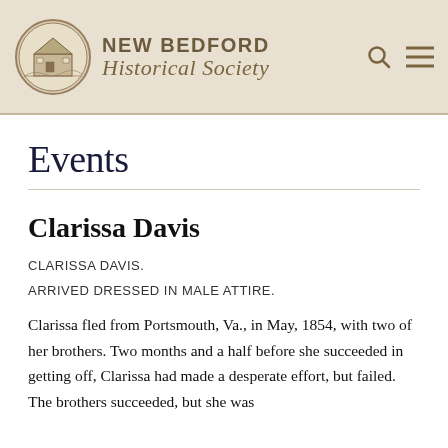[Figure (logo): New Bedford Historical Society logo with circular emblem featuring a historic building scene, and text reading NEW BEDFORD Historical Society]
Events
Clarissa Davis
CLARISSA DAVIS.
ARRIVED DRESSED IN MALE ATTIRE.
Clarissa fled from Portsmouth, Va., in May, 1854, with two of her brothers. Two months and a half before she succeeded in getting off, Clarissa had made a desperate effort, but failed. The brothers succeeded, but she was